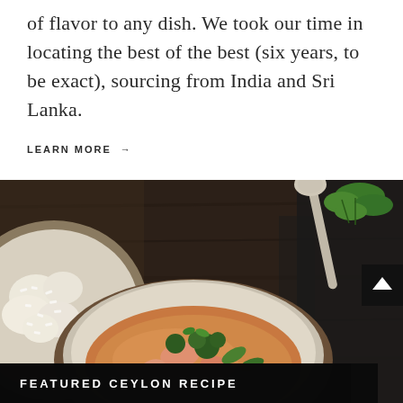of flavor to any dish. We took our time in locating the best of the best (six years, to be exact), sourcing from India and Sri Lanka.
LEARN MORE →
[Figure (photo): Overhead food photography showing a bowl of curry with vegetables and salmon on a dark wooden surface, with a silver spoon, fresh herbs, a side plate of white rice, and a dark cloth napkin.]
FEATURED CEYLON RECIPE